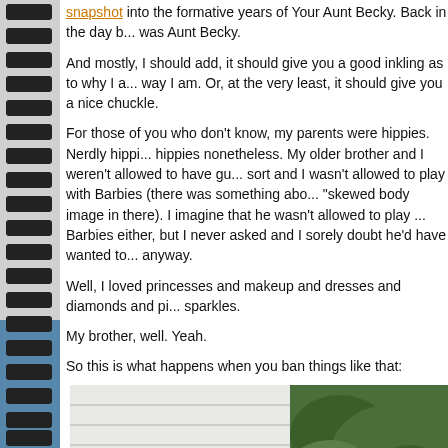snapshot into the formative years of Your Aunt Becky. Back in the day b... was Aunt Becky.
And mostly, I should add, it should give you a good inkling as to why I a... way I am. Or, at the very least, it should give you a nice chuckle.
For those of you who don't know, my parents were hippies. Nerdly hippi... hippies nonetheless. My older brother and I weren't allowed to have gu... sort and I wasn't allowed to play with Barbies (there was something abo... "skewed body image in there). I imagine that he wasn't allowed to play ... Barbies either, but I never asked and I sorely doubt he'd have wanted to... anyway.
Well, I loved princesses and makeup and dresses and diamonds and pi... sparkles.
My brother, well. Yeah.
So this is what happens when you ban things like that:
[Figure (photo): Outdoor photo showing a child near a house with white siding and green foliage]